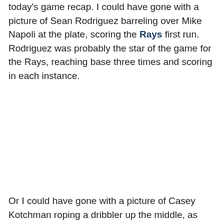today's game recap. I could have gone with a picture of Sean Rodriguez barreling over Mike Napoli at the plate, scoring the Rays first run. Rodriguez was probably the star of the game for the Rays, reaching base three times and scoring in each instance.
Or I could have gone with a picture of Casey Kotchman roping a dribbler up the middle, as Kotchman has been